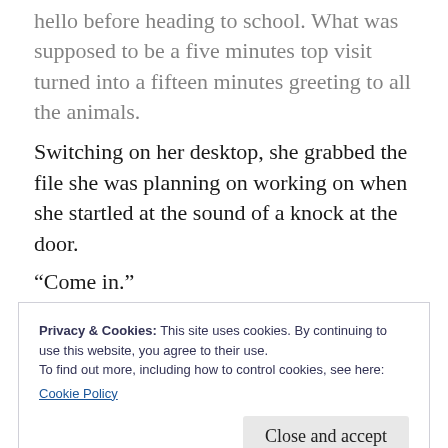hello before heading to school. What was supposed to be a five minutes top visit turned into a fifteen minutes greeting to all the animals.
Switching on her desktop, she grabbed the file she was planning on working on when she startled at the sound of a knock at the door.
“Come in.”
Harrison stepped in.
“I’m so sorry, I’m late,” she apologised.
Privacy & Cookies: This site uses cookies. By continuing to use this website, you agree to their use.
To find out more, including how to control cookies, see here:
Cookie Policy
Close and accept
“Anyway, I’m sorry.”